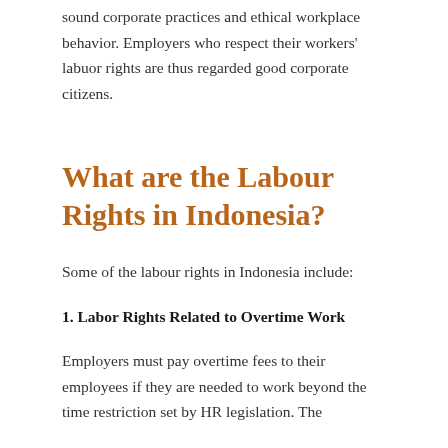sound corporate practices and ethical workplace behavior. Employers who respect their workers' labuor rights are thus regarded good corporate citizens.
What are the Labour Rights in Indonesia?
Some of the labour rights in Indonesia include:
1. Labor Rights Related to Overtime Work
Employers must pay overtime fees to their employees if they are needed to work beyond the time restriction set by HR legislation. The